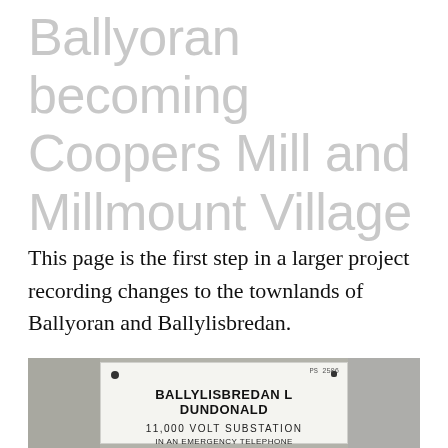Ballyoran becoming Coopers Mill and Millmount Village
This page is the first step in a larger project recording changes to the townlands of Ballyoran and Ballylisbredan.
[Figure (photo): Photo of a white utility sign on a grey wall reading: PS 2506, BALLYLISBREDAN L DUNDONALD, 11,000 VOLT SUBSTATION, IN AN EMERGENCY TELEPHONE]